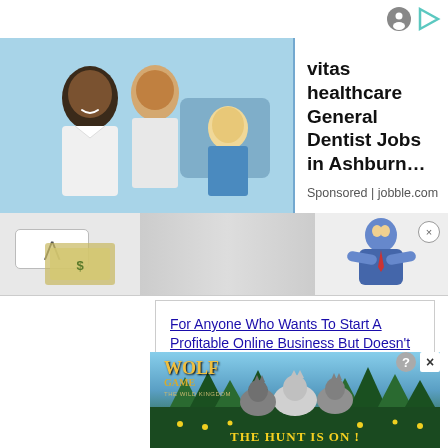[Figure (screenshot): Top-right icons: gray circle icon and teal play button icon]
[Figure (photo): Top banner ad showing dentist/healthcare workers (smiling dentist, dental professional, and child patient) with text 'vitas healthcare General Dentist Jobs in Ashburn...' and 'Sponsored | jobble.com']
vitas healthcare General Dentist Jobs in Ashburn…
Sponsored | jobble.com
[Figure (screenshot): Middle strip with back-arrow button on left, money/cash image in center-left, cartoon character with arms crossed on right with close button]
[Figure (screenshot): Content box with two blue underlined links: 'For Anyone Who Wants To Start A Profitable Online Business But Doesn't Know Where To Begin!' and '"Discover How I Started An Online Business That Earns High-Ticket Commissions Marketing Valuable Products People Already...']
For Anyone Who Wants To Start A Profitable Online Business But Doesn't Know Where To Begin!
"Discover How I Started An Online Business That Earns High-Ticket Commissions Marketing Valuable Products People Already...
[Figure (photo): Wolf Game: The Wild Kingdom advertisement showing wolves in a forest landscape with text 'THE HUNT IS ON!' and the Wolf Game logo, with ? and X close buttons]